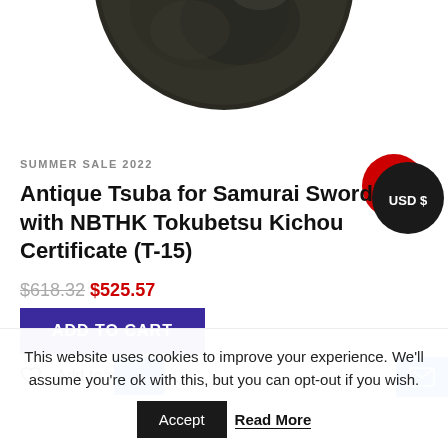[Figure (photo): Bottom portion of a dark metal tsuba (Japanese sword guard) on white background]
[Figure (other): Black circular badge with red accent showing 'USD $' currency selector]
SUMMER SALE 2022
Antique Tsuba for Samurai Sword with NBTHK Tokubetsu Kichou Certificate (T-15)
$618.32 $525.57
ADD TO CART
Add to wishlist
This website uses cookies to improve your experience. We'll assume you're ok with this, but you can opt-out if you wish.
Accept Read More